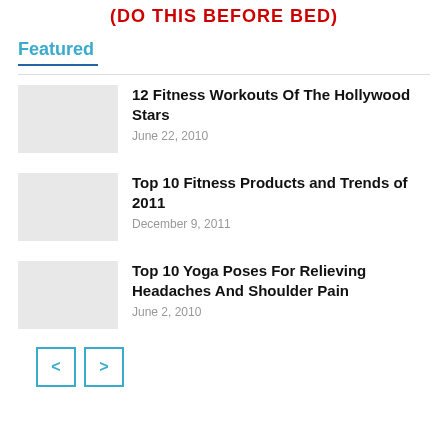(DO THIS BEFORE BED)
Featured
12 Fitness Workouts Of The Hollywood Stars
June 22, 2010
Top 10 Fitness Products and Trends of 2011
December 9, 2011
Top 10 Yoga Poses For Relieving Headaches And Shoulder Pain
June 2, 2010